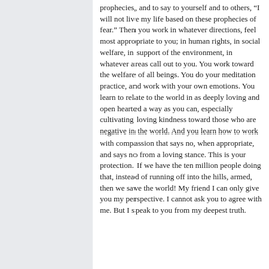prophecies, and to say to yourself and to others, “I will not live my life based on these prophecies of fear.” Then you work in whatever directions, feel most appropriate to you; in human rights, in social welfare, in support of the environment, in whatever areas call out to you. You work toward the welfare of all beings. You do your meditation practice, and work with your own emotions. You learn to relate to the world in as deeply loving and open hearted a way as you can, especially cultivating loving kindness toward those who are negative in the world. And you learn how to work with compassion that says no, when appropriate, and says no from a loving stance. This is your protection. If we have the ten million people doing that, instead of running off into the hills, armed, then we save the world! My friend I can only give you my perspective. I cannot ask you to agree with me. But I speak to you from my deepest truth.